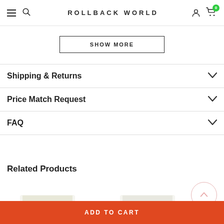ROLLBACK WORLD
SHOW MORE
Shipping & Returns
Price Match Request
FAQ
Related Products
[Figure (photo): Two partial product thumbnail images at the bottom of the page (olive/green and grey colored items)]
ADD TO CART